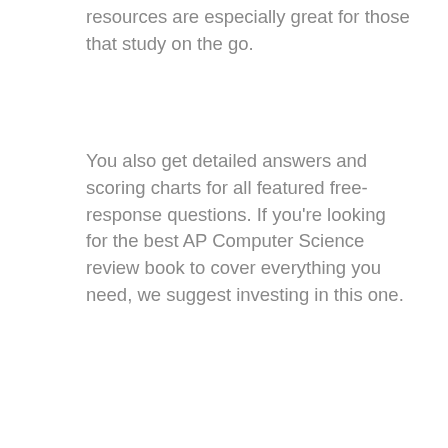resources are especially great for those that study on the go.
You also get detailed answers and scoring charts for all featured free-response questions. If you're looking for the best AP Computer Science review book to cover everything you need, we suggest investing in this one.